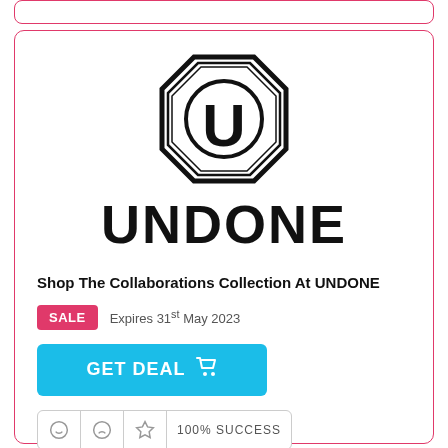[Figure (logo): UNDONE brand logo: octagon shape with U letter inside, and UNDONE wordmark below]
Shop The Collaborations Collection At UNDONE
SALE   Expires 31st May 2023
GET DEAL
100% SUCCESS